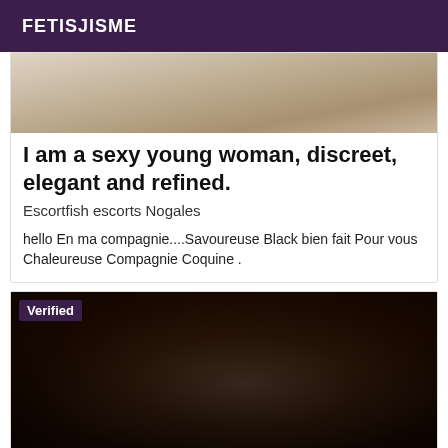FETISJISME
[Figure (photo): Partial body photo at top of card]
I am a sexy young woman, discreet, elegant and refined.
Escortfish escorts Nogales
hello En ma compagnie....Savoureuse Black bien fait Pour vous Chaleureuse Compagnie Coquine .
[Figure (photo): Second photo card with Verified badge overlay]